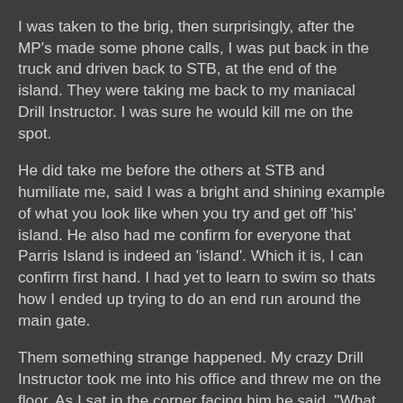I was taken to the brig, then surprisingly, after the MP's made some phone calls, I was put back in the truck and driven back to STB, at the end of the island. They were taking me back to my maniacal Drill Instructor. I was sure he would kill me on the spot.
He did take me before the others at STB and humiliate me, said I was a bright and shining example of what you look like when you try and get off 'his' island. He also had me confirm for everyone that Parris Island is indeed an 'island'. Which it is, I can confirm first hand. I had yet to learn to swim so thats how I ended up trying to do an end run around the main gate.
Them something strange happened. My crazy Drill Instructor took me into his office and threw me on the floor. As I sat in the corner facing him he said, "What the f___ is wrong with you kid?" Before I could answer he said, "You haven't eaten in three days. You lived off swamp water. Hell, I'm a Force Recon Marine and I don't do that!" He then became human.